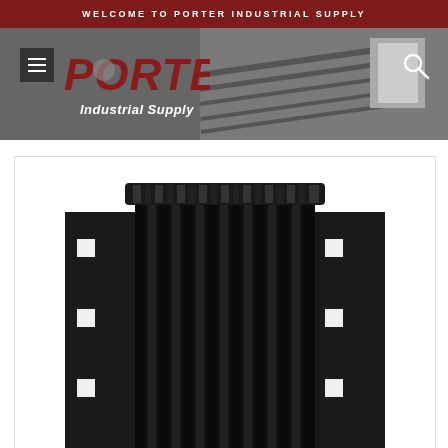WELCOME TO PORTER INDUSTRIAL SUPPLY
[Figure (logo): Porter Industrial Supply logo with hamburger menu button and search icon on a gray header background showing a loading dock ramp]
[Figure (photo): Close-up photo of a black industrial dock bumper or rubber buffer with metal mounting plates on each side showing bolt holes, viewed from the front]